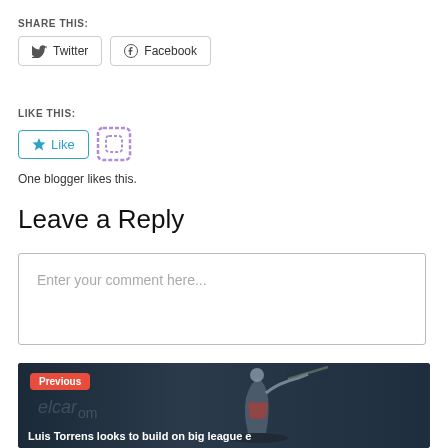SHARE THIS:
[Figure (screenshot): Twitter and Facebook share buttons]
LIKE THIS:
[Figure (screenshot): Like button with star icon and a purple avatar icon]
One blogger likes this.
Leave a Reply
Enter your comment here...
[Figure (photo): Baseball player batting, dark background. Previous post navigation with label 'Previous' and title 'Luis Torrens looks to build on big league e']